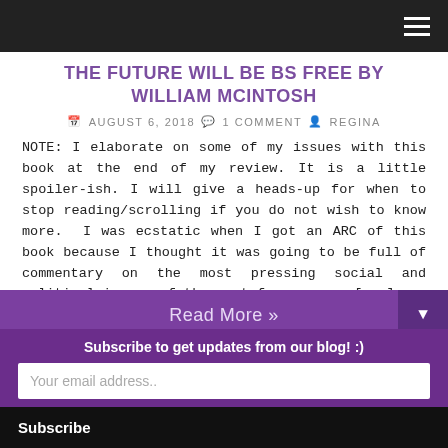THE FUTURE WILL BE BS FREE BY WILLIAM MCINTOSH
AUGUST 6, 2018  1 COMMENT  REGINA
NOTE: I elaborate on some of my issues with this book at the end of my review. It is a little spoiler-ish. I will give a heads-up for when to stop reading/scrolling if you do not wish to know more. I was ecstatic when I got an ARC of this book because I thought it was going to be full of commentary on the most pressing social and political issues of the past four years. [...]
Read More »
Subscribe to get updates from our blog! :)
Your email address..
Subscribe